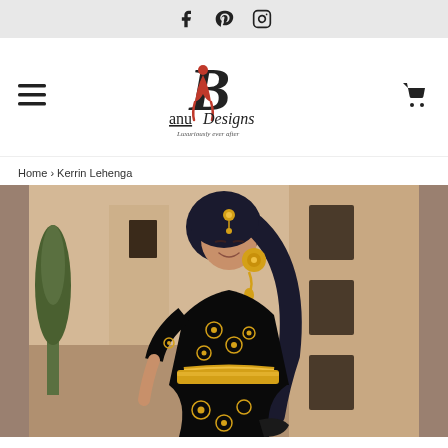Social media icons: Facebook, Pinterest, Instagram
[Figure (logo): Banu Designs logo with stylized B and woman figure in red, text 'anu Designs Luxuriously ever after']
Home › Kerrin Lehenga
[Figure (photo): Woman wearing black and gold embroidered lehenga (Indian outfit) with gold jewelry including maang tikka and earrings, smiling, with long dark hair, photographed outdoors near a building]